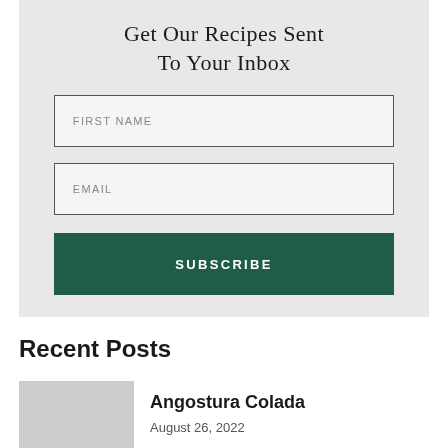Get Our Recipes Sent To Your Inbox
FIRST NAME
EMAIL
SUBSCRIBE
Recent Posts
Angostura Colada
August 26, 2022